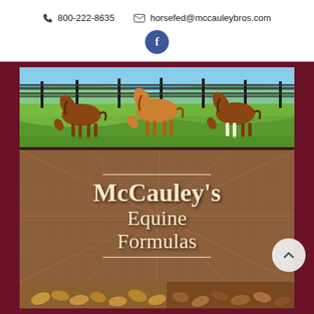📞 800-222-8635   ✉ horsefed@mccauleybros.com
[Figure (logo): Facebook icon — circular dark blue button with white lowercase 'f']
[Figure (photo): Product bag for McCauley's Equine Formulas. Top panel shows three brown horses grazing in a green pasture with black fencing. Middle panel shows large serif text 'McCauley's Equine Formulas' on a burlap/wood textured brown background with decorative horizontal lines. Bottom shows feed pellets. Framed with dark maroon/crimson border.]